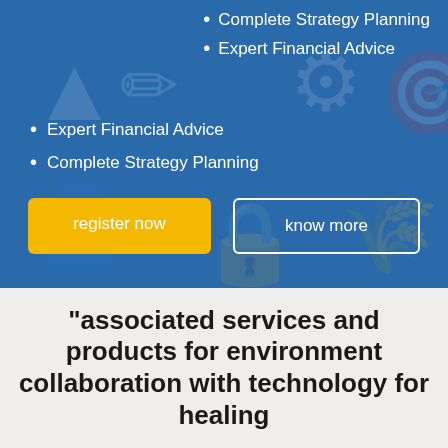Complete Strategy Planning
Expert Financial Advice
Expert Financial Advice
Complete Strategy Planning
register now
know more
"associated services and products for environment collaboration with technology for healing